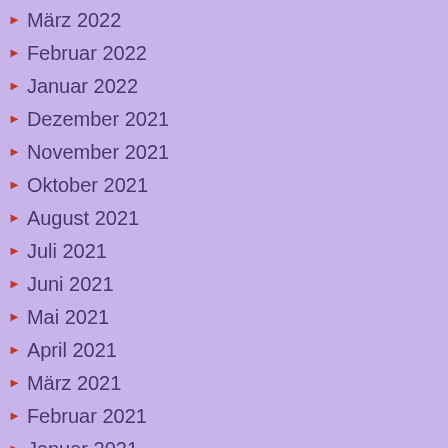März 2022
Februar 2022
Januar 2022
Dezember 2021
November 2021
Oktober 2021
August 2021
Juli 2021
Juni 2021
Mai 2021
April 2021
März 2021
Februar 2021
Januar 2021
Dezember 2020
Oktober 2020
Mai 2020
April 2020
März 2020
Februar 2020